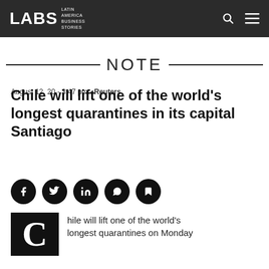LABS Latin America Business Stories
NOTE
August 12, 20 - 3:47 pm - Reuters
Chile will lift one of the world’s longest quarantines in its capital Santiago
[Figure (infographic): Social media sharing icons: Facebook, Twitter, LinkedIn, WhatsApp, and a bookmark/read-later icon, all in black circles]
Chile will lift one of the world’s longest quarantines on Monday